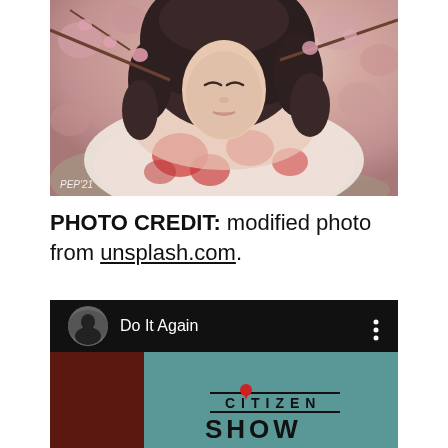[Figure (photo): Young woman with curly dark hair wearing a floral scarf/wrap, surrounded by pink blossoms. Vintage/filtered aesthetic. Watermark reads PEP'21 in bottom left corner.]
PHOTO CREDIT: modified photo from unsplash.com.
[Figure (screenshot): YouTube video thumbnail for 'Do It Again' showing the Citizen Shaw logo on a teal background with dark red side panels and a circular avatar in top-left.]